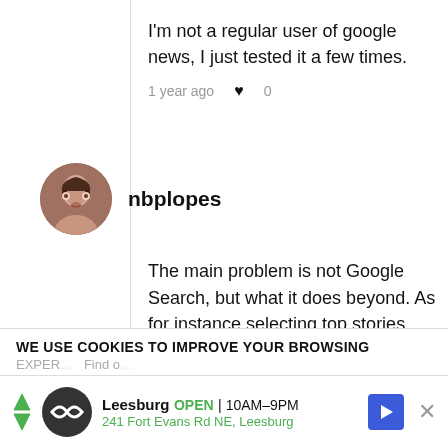I'm not a regular user of google news, I just tested it a few times.
1 year ago  ♥ 0
nbplopes
The main problem is not Google Search, but what it does beyond. As for instance selecting top stories across the web .... But more importantly services such as Google News. Try and download Google News for the iPhone or the iPad and you see a service based on other organizations content
WE USE COOKIES TO IMPROVE YOUR BROWSING
Leesburg  OPEN  10AM–9PM  241 Fort Evans Rd NE, Leesburg